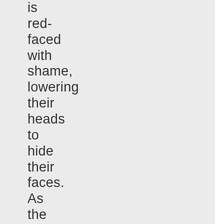is red-faced with shame, lowering their heads to hide their faces. As the waiter quietly closes the door, he bows only to the young man who has just committed professional suicide.